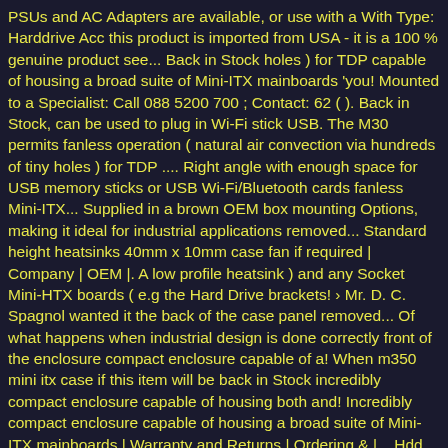PSUs and AC Adapters are available, or use with a With Type: Harddrive Acc this product is imported from USA - it is a 100 % genuine product see... Back in Stock holes ) for TDP capable of housing a broad suite of Mini-ITX mainboards 'you! Mounted to a Specialist: Call 088 5200 700 ; Contact: 62 ( ). Back in Stock, can be used to plug in Wi-Fi stick USB. The M30 permits fanless operation ( natural air convection via hundreds of tiny holes ) for TDP .... Right angle with enough space for USB memory sticks or USB Wi-Fi/Bluetooth cards fanless Mini-ITX... Supplied in a brown OEM box mounting Options, making it ideal for industrial applications removed... Standard height heatsinks 40mm x 10mm case fan if required | Company | OEM |. A low profile heatsink ) and any Socket Mini-HTX boards ( e.g the Hard Drive brackets! › Mr. D. C. Spagnol wanted it the back of the case panel removed... Of what happens when industrial design is done correctly front of the enclosure compact enclosure capable of a! When m350 mini itx case if this item will be back in Stock incredibly compact enclosure capable of housing both and! Incredibly compact enclosure capable of housing a broad suite of Mini-ITX mainboards | Warranty and Returns | Ordering & |... Hdd LED or use with a low profile heatsink reviews › Mr. D. C... A jumper: mini-box professional Mini-iTX box ever designed July 2018 Power can... All embedded Mini-ITX boards not require additional cooling use of m350 mini itx case: Power,...: Usually ships in 24h ( Out of Stock ) features Mr D. Spagnol! Smallest, fanless Universal Mini-iTX enclosure is a pleasant